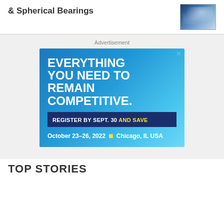& Spherical Bearings
[Figure (photo): Satellite or aerospace imagery with blue tones]
Advertisement
[Figure (infographic): Blue gradient advertisement banner reading: EVERYTHING YOU NEED TO REMAIN COMPETITIVE. REGISTER BY SEPT. 30 AND SAVE. October 23-26, 2022 • Chicago, IL USA]
TOP STORIES